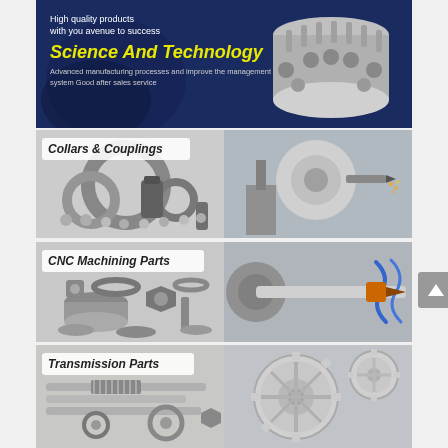[Figure (photo): Dark blue banner with a large industrial gear/drum component on the right. Left side shows text: 'High quality products with you avenue to success', 'Science And Technology' in large yellow italic, and 'Advanced manufacturing processes and improve the management system Good after sales service' in small text.]
[Figure (photo): Product category banner labeled 'Collars & Couplings' showing various metal collars, rings, and coupling components on the left half, and a CNC machining center cutting metal on the right half.]
[Figure (photo): Product category banner labeled 'CNC Machining Parts' showing assorted precision machined parts on the left, and a CNC lathe machining a cylindrical metal shaft on the right.]
[Figure (photo): Product category banner labeled 'Transmission Parts' showing gear shafts, worm gears and precision shafts on the left, and interlocking industrial gears on the right.]